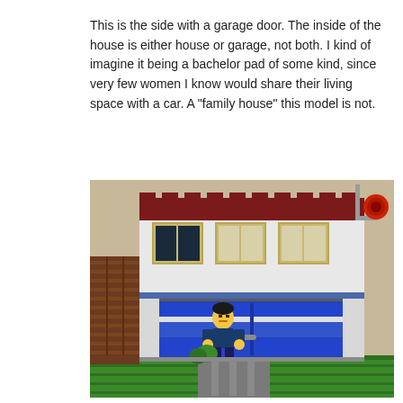This is the side with a garage door. The inside of the house is either house or garage, not both. I kind of imagine it being a bachelor pad of some kind, since very few women I know would share their living space with a car. A "family house" this model is not.
[Figure (photo): Photo of a LEGO house model showing the side with a blue garage door. The house has a dark red/maroon top, white walls with tan-framed windows on the upper floor, and a large blue garage door on the lower level. A LEGO minifigure stands in front of the garage door on a gray driveway. Brown brick walls and green base plates are visible. A LEGO camera/traffic light accessory appears in the upper right corner.]